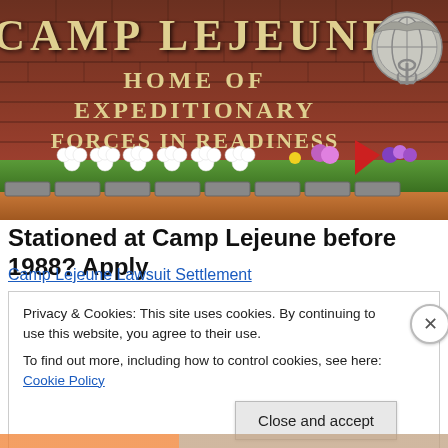[Figure (photo): Photo of Camp Lejeune entrance sign on a brick wall reading 'CAMP LEJEUNE HOME OF EXPEDITIONARY FORCES IN READINESS' with USMC eagle-globe-anchor emblem, white flower wreaths and colorful flowers placed at the base of the wall.]
Stationed at Camp Lejeune before 1988? Apply
Camp Lejeune Lawsuit Settlement
Privacy & Cookies: This site uses cookies. By continuing to use this website, you agree to their use.
To find out more, including how to control cookies, see here: Cookie Policy
Close and accept